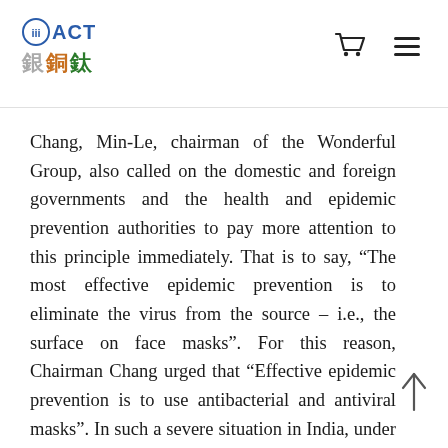ACT 銀銅鈦
Chang, Min-Le, chairman of the Wonderful Group, also called on the domestic and foreign governments and the health and epidemic prevention authorities to pay more attention to this principle immediately. That is to say, “The most effective epidemic prevention is to eliminate the virus from the source – i.e., the surface on face masks”. For this reason, Chairman Chang urged that “Effective epidemic prevention is to use antibacterial and antiviral masks”. In such a severe situation in India, under this life-threatening reality, we must call on everyone to wear antibacterial and antiviral medical face masks. Wonderful Group will start with the Seraj Monastery in India, where the epidemic is severe and then call for all medical personnel and public service personnel in China